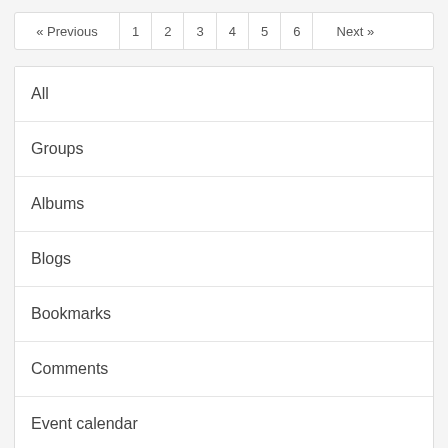« Previous  1  2  3  4  5  6  Next »
All
Groups
Albums
Blogs
Bookmarks
Comments
Event calendar
Files
Screenshots (partial)